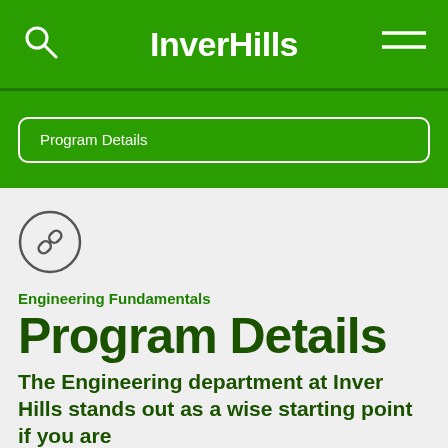InverHills
Program Details
[Figure (illustration): Circular link/chain icon with outline circle border]
Engineering Fundamentals
Program Details
The Engineering department at Inver Hills stands out as a wise starting point if you are